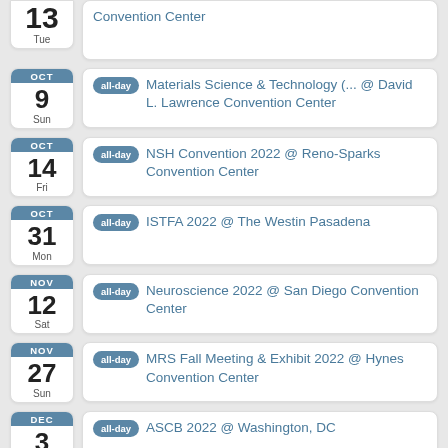13 Tue — Convention Center
OCT 9 Sun — all-day Materials Science & Technology (... @ David L. Lawrence Convention Center
OCT 14 Fri — all-day NSH Convention 2022 @ Reno-Sparks Convention Center
OCT 31 Mon — all-day ISTFA 2022 @ The Westin Pasadena
NOV 12 Sat — all-day Neuroscience 2022 @ San Diego Convention Center
NOV 27 Sun — all-day MRS Fall Meeting & Exhibit 2022 @ Hynes Convention Center
DEC 3 — all-day ASCB 2022 @ Washington, DC